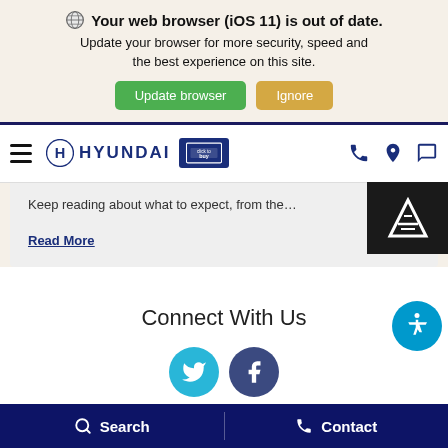Your web browser (iOS 11) is out of date. Update your browser for more security, speed and the best experience on this site.
[Figure (screenshot): Hyundai dealership website screenshot showing browser update warning banner, navigation bar with Hyundai logo and Click to Buy badge, content card with Read More link, Connect With Us section with Twitter and Facebook icons, and bottom Search/Contact bar]
Keep reading about what to expect, from the...
Read More
Connect With Us
Search   Contact